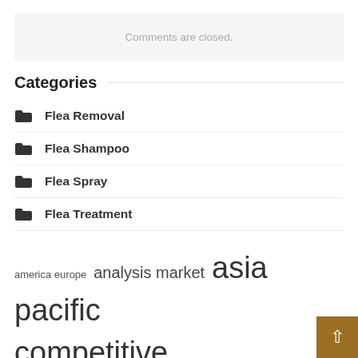Comments are closed.
Categories
Flea Removal
Flea Shampoo
Flea Spray
Flea Treatment
america europe  analysis market  asia pacific  competitive landscape  east africa